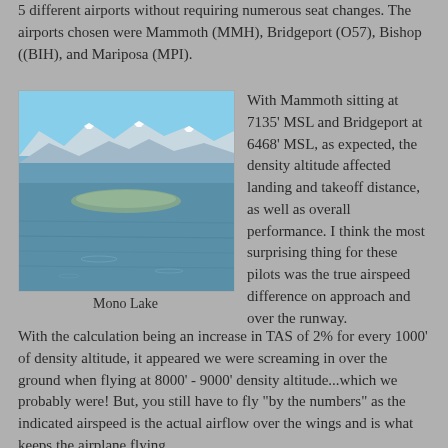5 different airports without requiring numerous seat changes. The airports chosen were Mammoth (MMH), Bridgeport (O57), Bishop ((BIH), and Mariposa (MPI).
[Figure (photo): Aerial photograph of Mono Lake with mountains and snow-capped peaks reflected in calm blue water]
Mono Lake
With Mammoth sitting at 7135' MSL and Bridgeport at 6468' MSL, as expected, the density altitude affected landing and takeoff distance, as well as overall performance.  I think the most surprising thing for these pilots was the true airspeed difference on approach and over the runway.  With the calculation being an increase in TAS of 2% for every 1000' of density altitude, it appeared we were screaming in over the ground when flying at 8000' - 9000' density altitude...which we probably were!  But, you still have to fly "by the numbers" as the indicated airspeed is the actual airflow over the wings and is what keeps the airplane flying.